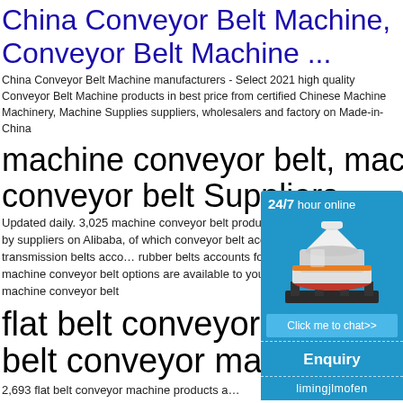China Conveyor Belt Machine, Conveyor Belt Machine ...
China Conveyor Belt Machine manufacturers - Select 2021 high quality Conveyor Belt Machine products in best price from certified Chinese Machine Machinery, Machine Supplies suppliers, wholesalers and factory on Made-in-China
machine conveyor belt, machine conveyor belt Suppliers
Updated daily. 3,025 machine conveyor belt products are offered for sale by suppliers on Alibaba, of which conveyor belt accounts for 35%, transmission belts accounts for rubber belts accounts for 2%. A wide variety of machine conveyor belt options are available to you, suppliers who sells machine conveyor belt
flat belt conveyor machine, flat belt conveyor machine
2,693 flat belt conveyor machine products are by suppliers on Alibaba, of which conveyor
[Figure (other): Sidebar ad widget with blue background showing '24/7 hour online' text, a white industrial cone crusher machine photo, 'Click me to chat>>' button, 'Enquiry' section, and 'limingjlmofen' username label.]